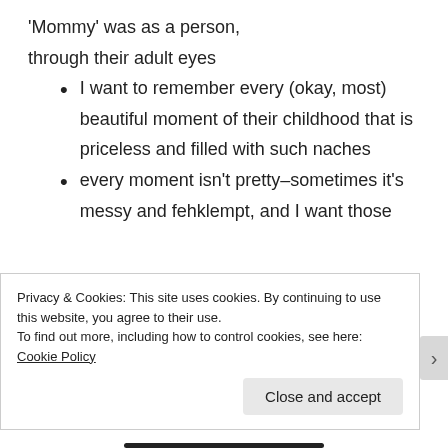'Mommy' was as a person, through their adult eyes
I want to remember every (okay, most) beautiful moment of their childhood that is priceless and filled with such naches
every moment isn't pretty–sometimes it's messy and fehklempt, and I want those
Privacy & Cookies: This site uses cookies. By continuing to use this website, you agree to their use.
To find out more, including how to control cookies, see here: Cookie Policy